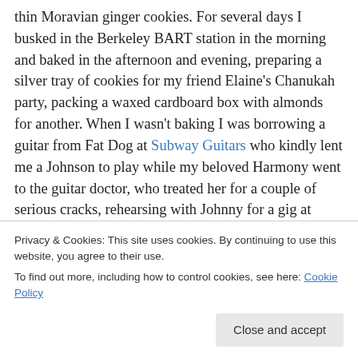thin Moravian ginger cookies. For several days I busked in the Berkeley BART station in the morning and baked in the afternoon and evening, preparing a silver tray of cookies for my friend Elaine's Chanukah party, packing a waxed cardboard box with almonds for another. When I wasn't baking I was borrowing a guitar from Fat Dog at Subway Guitars who kindly lent me a Johnson to play while my beloved Harmony went to the guitar doctor, who treated her for a couple of serious cracks, rehearsing with Johnny for a gig at Arlington Cafe in my home town or giving my
Privacy & Cookies: This site uses cookies. By continuing to use this website, you agree to their use.
To find out more, including how to control cookies, see here: Cookie Policy